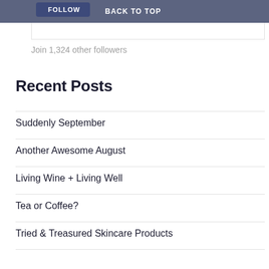FOLLOW  BACK TO TOP
Join 1,324 other followers
Recent Posts
Suddenly September
Another Awesome August
Living Wine + Living Well
Tea or Coffee?
Tried & Treasured Skincare Products